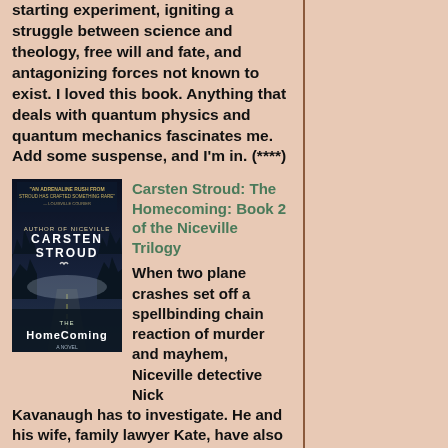starting experiment, igniting a struggle between science and theology, free will and fate, and antagonizing forces not known to exist. I loved this book. Anything that deals with quantum physics and quantum mechanics fascinates me. Add some suspense, and I'm in. (****)
[Figure (illustration): Book cover of 'The Homecoming' by Carsten Stroud. Dark moody cover showing a foggy road or highway at night with the text 'CARSTEN STROUD' and 'THE HOMECOMING' prominently displayed.]
Carsten Stroud: The Homecoming: Book 2 of the Niceville Trilogy
When two plane crashes set off a spellbinding chain reaction of murder and mayhem, Niceville detective Nick Kavanaugh has to investigate. He and his wife, family lawyer Kate, have also just taken in brutally orphaned Rainey Teague. Meanwhile, people are disappearing in Niceville. Kate and Nick start to unearth Niceville's blood stained history, but something (or is it Nothing?)